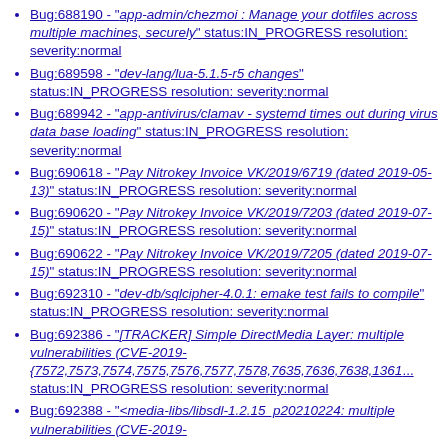Bug:688190 - "app-admin/chezmoi : Manage your dotfiles across multiple machines, securely" status:IN_PROGRESS resolution: severity:normal
Bug:689598 - "dev-lang/lua-5.1.5-r5 changes" status:IN_PROGRESS resolution: severity:normal
Bug:689942 - "app-antivirus/clamav - systemd times out during virus data base loading" status:IN_PROGRESS resolution: severity:normal
Bug:690618 - "Pay Nitrokey Invoice VK/2019/6719 (dated 2019-05-13)" status:IN_PROGRESS resolution: severity:normal
Bug:690620 - "Pay Nitrokey Invoice VK/2019/7203 (dated 2019-07-15)" status:IN_PROGRESS resolution: severity:normal
Bug:690622 - "Pay Nitrokey Invoice VK/2019/7205 (dated 2019-07-15)" status:IN_PROGRESS resolution: severity:normal
Bug:692310 - "dev-db/sqlcipher-4.0.1: emake test fails to compile" status:IN_PROGRESS resolution: severity:normal
Bug:692386 - "[TRACKER] Simple DirectMedia Layer: multiple vulnerabilities (CVE-2019-{7572,7573,7574,7575,7576,7577,7578,7635,7636,7638,1361... status:IN_PROGRESS resolution: severity:normal
Bug:692388 - "<media-libs/libsdl-1.2.15_p20210224: multiple vulnerabilities (CVE-2019-